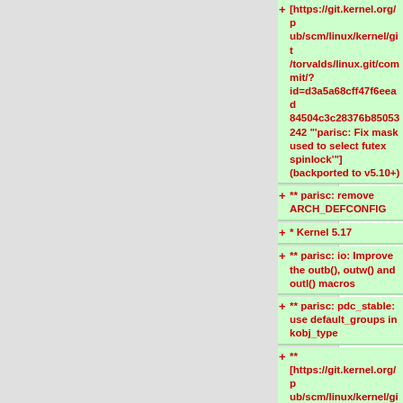[https://git.kernel.org/pub/scm/linux/kernel/git/torvalds/linux.git/commit/?id=d3a5a68cff47f6eead84504c3c28376b85053242 "'parisc: Fix mask used to select futex spinlock'"] (backported to v5.10+)
** parisc: remove ARCH_DEFCONFIG
* Kernel 5.17
** parisc: io: Improve the outb(), outw() and outl() macros
** parisc: pdc_stable: use default_groups in kobj_type
** [https://git.kernel.org/pub/scm/linux/kernel/git